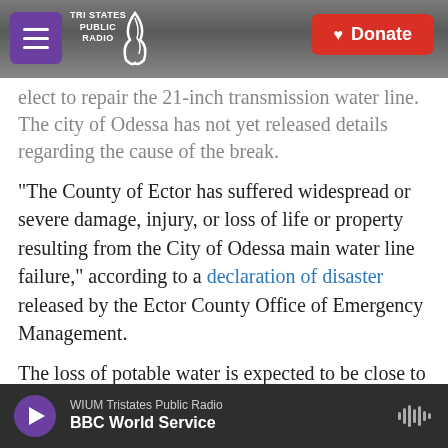Tri States Public Radio — Donate
elect to repair the 21-inch transmission water line. The city of Odessa has not yet released details regarding the cause of the break.
"The County of Ector has suffered widespread or severe damage, injury, or loss of life or property resulting from the City of Odessa main water line failure," according to a declaration of disaster released by the Ector County Office of Emergency Management.
The loss of potable water is expected to be close to 48 hours, according to the declaration. City officials say crews are working as fast as possible to repair
WIUM Tristates Public Radio — BBC World Service